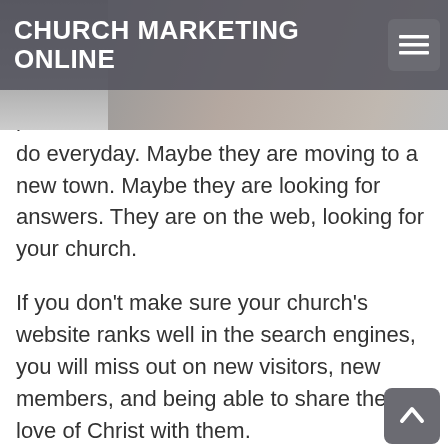CHURCH MARKETING ONLINE
[Figure (photo): Partial background photo of people, cropped, visible behind nav bar]
ple
do everyday.  Maybe they are moving to a new town.  Maybe they are looking for answers.  They are on the web, looking for your church.
If you don't make sure your church's website ranks well in the search engines, you will miss out on new visitors, new members, and being able to share the love of Christ with them.
Top Rankings in Google, Bing, and Yahoo...Guaranteed!!
We guarantee at least 100 Top Ten